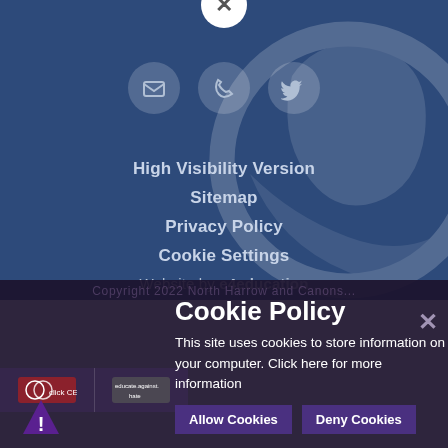[Figure (screenshot): Blue website header with close button (X), three social/contact icon circles (email, phone, Twitter), navigation links, and background Firefox-like logo watermark]
High Visibility Version
Sitemap
Privacy Policy
Cookie Settings
Website by e4education
Cookie Policy
This site uses cookies to store information on your computer. Click here for more information
Allow Cookies   Deny Cookies